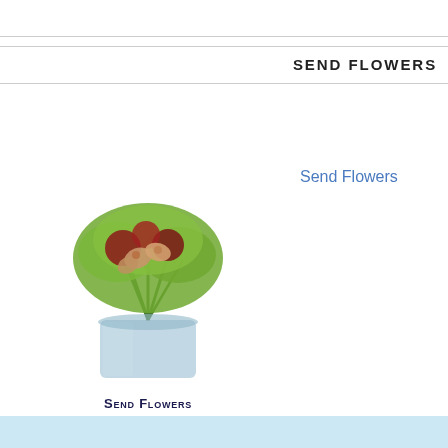SEND FLOWERS
[Figure (photo): Floral arrangement in a glass vase with green and red flowers]
Send Flowers
Send Flowers
Ma
Post
I ha for
Post